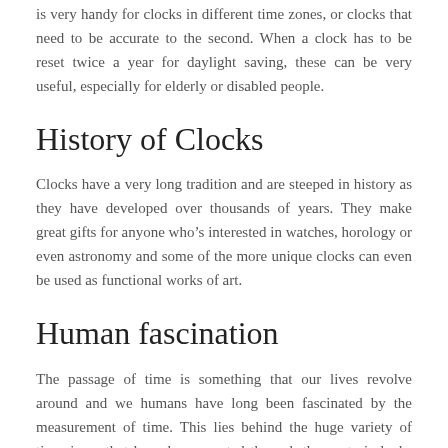is very handy for clocks in different time zones, or clocks that need to be accurate to the second. When a clock has to be reset twice a year for daylight saving, these can be very useful, especially for elderly or disabled people.
History of Clocks
Clocks have a very long tradition and are steeped in history as they have developed over thousands of years. They make great gifts for anyone who's interested in watches, horology or even astronomy and some of the more unique clocks can even be used as functional works of art.
Human fascination
The passage of time is something that our lives revolve around and we humans have long been fascinated by the measurement of time. This lies behind the huge variety of timepieces that have been created through the centuri clocks are very functional and they continue to be popu the 21st century.